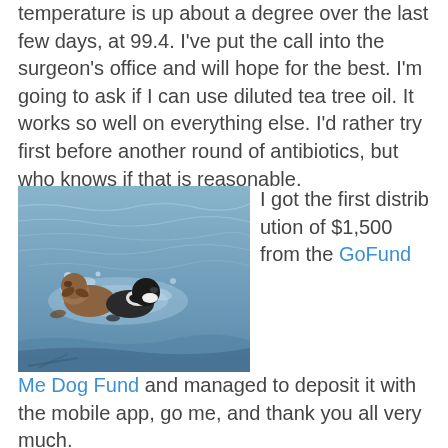temperature is up about a degree over the last few days, at 99.4. I've put the call into the surgeon's office and will hope for the best. I'm going to ask if I can use diluted tea tree oil. It works so well on everything else. I'd rather try first before another round of antibiotics, but who knows if that is reasonable.
[Figure (photo): Two dogs swimming in open water, appearing to play or swim together, water rippling around them.]
I got the first distribution of $1,500 from the GoFund Me Dog Fund and managed to deposit it with the mobile app, go me, and thank you all very much.